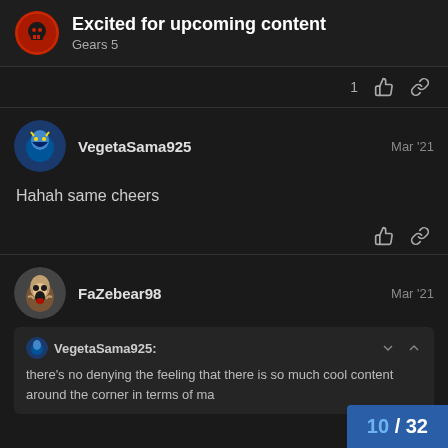Excited for upcoming content — Gears 5
VegetaSama925 — Mar '21 — Hahah same cheers
FaZebear98 — Mar '21
VegetaSama925: there's no denying the feeling that there is so much cool content around the corner in terms of ma
10 / 32